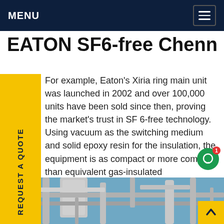MENU
EATON SF6-free Chennair
For example, Eaton's Xiria ring main unit was launched in 2002 and over 100,000 units have been sold since then, proving the market's trust in SF 6-free technology. Using vacuum as the switching medium and solid epoxy resin for the insulation, the equipment is as compact or more compact than equivalent gas-insulated alternatives.Get price
[Figure (photo): Industrial plant/refinery with pipes, tanks, and scaffolding against a blue sky. A worker in a blue helmet is partially visible at the bottom.]